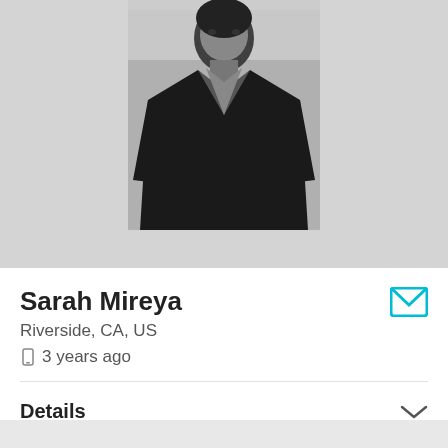[Figure (photo): Black and white portrait photo of a person wearing a black v-neck t-shirt, centered on a light gray background]
Sarah Mireya
Riverside, CA, US
3 years ago
Details